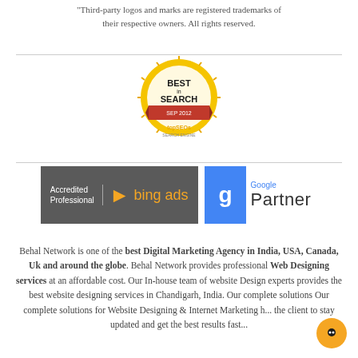"Third-party logos and marks are registered trademarks of their respective owners. All rights reserved.
[Figure (logo): Best in Search award badge - gold and red circular seal with 'BEST in SEARCH' text and topSEOs branding]
[Figure (logo): Bing Ads Accredited Professional badge (dark grey background with yellow bing ads logo) next to Google Partner badge (blue G icon with Google Partner text)]
Behal Network is one of the best Digital Marketing Agency in India, USA, Canada, Uk and around the globe. Behal Network provides professional Web Designing services at an affordable cost. Our In-house team of website Design experts provides the best website designing services in Chandigarh, India. Our complete solutions Our complete solutions for Website Designing & Internet Marketing h... the client to stay updated and get the best results fast...